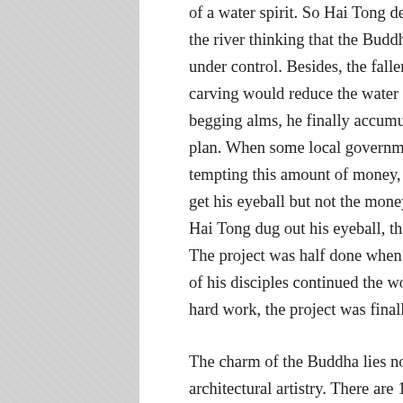of a water spirit. So Hai Tong decided to carve a statue beside the river thinking that the Buddha would bring the water spirit under control. Besides, the fallen stones dropped during the carving would reduce the water force there. After 20 years' begging alms, he finally accumulated enough money for the plan. When some local government officials had designs on tempting this amount of money, Hai Tong said that they could get his eyeball but not the money raised for the Buddha. After Hai Tong dug out his eyeball, these officials ran away scared. The project was half done when Hai Tong passed away, and two of his disciples continued the work. After a total of 90 years' hard work, the project was finally completed.
The charm of the Buddha lies not only in its size but also in its architectural artistry. There are 1,021 buns in the Buddha's coiled hair. These have been skillfully embedded in the head. The skill is so wonderful that the 1,021 buns seem integral to the whole. Another architectural highlight is the drainage system. This system is made up of some hidden